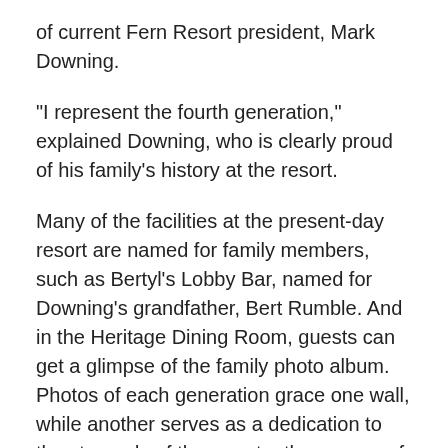of current Fern Resort president, Mark Downing.
“I represent the fourth generation,” explained Downing, who is clearly proud of his family’s history at the resort.
Many of the facilities at the present-day resort are named for family members, such as Bertyl's Lobby Bar, named for Downing’s grandfather, Bert Rumble. And in the Heritage Dining Room, guests can get a glimpse of the family photo album. Photos of each generation grace one wall, while another serves as a dedication to the stewards of the resort – the women of the family – from his grandmother up to and including his three daughters.
One of the resort’s many traditions is the popular Mothers’ Day Brunch that takes place in the Heritage Dining Room. It offers local visitors the chance to